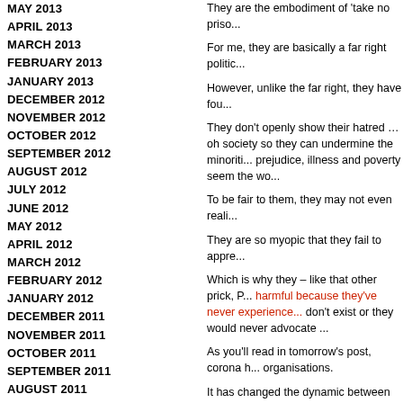MAY 2013
APRIL 2013
MARCH 2013
FEBRUARY 2013
JANUARY 2013
DECEMBER 2012
NOVEMBER 2012
OCTOBER 2012
SEPTEMBER 2012
AUGUST 2012
JULY 2012
JUNE 2012
MAY 2012
APRIL 2012
MARCH 2012
FEBRUARY 2012
JANUARY 2012
DECEMBER 2011
NOVEMBER 2011
OCTOBER 2011
SEPTEMBER 2011
AUGUST 2011
JULY 2011
JUNE 2011
MAY 2011
APRIL 2011
MARCH 2011
FEBRUARY 2011
JANUARY 2011
DECEMBER 2010
NOVEMBER 2010
They are the embodiment of 'take no priso...
For me, they are basically a far right politic...
However, unlike the far right, they have fou...
They don't openly show their hatred … oh society so they can undermine the minoriti... prejudice, illness and poverty seem the wo...
To be fair to them, they may not even reali...
They are so myopic that they fail to appre...
Which is why they – like that other prick, P... harmful because they've never experience... don't exist or they would never advocate ...
As you'll read in tomorrow's post, corona h... organisations.
It has changed the dynamic between corpo...
It's why I hope after this, the Daily Mail is s... who only acts in the interests of its owner a...
A great villain for a Bond movie, but not a g...
35
WHEN COLLABORATION GOES WAAAAA...
April 28, 2020, 6:35 am
Filed under: A Bit Of Inspiration, Advertising, A... Confidence, Creativity, Culture, Digital, Emba... Immaturity, Innocence
[Figure (photo): Grayscale decorative relief or sculptural image used as blog post thumbnail]